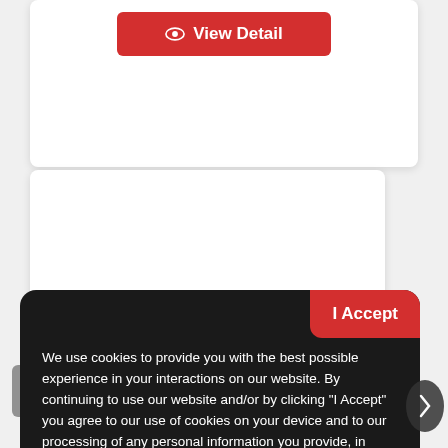[Figure (screenshot): Red 'View Detail' button with eye icon on white card background]
[Figure (screenshot): White card panel, partially visible]
We use cookies to provide you with the best possible experience in your interactions on our website. By continuing to use our website and/or by clicking “I Accept” you agree to our use of cookies on your device and to our processing of any personal information you provide, in accordance with our Privacy Statement available HERE.
[Figure (screenshot): Red 'I Accept' button in top-right corner of cookie banner]